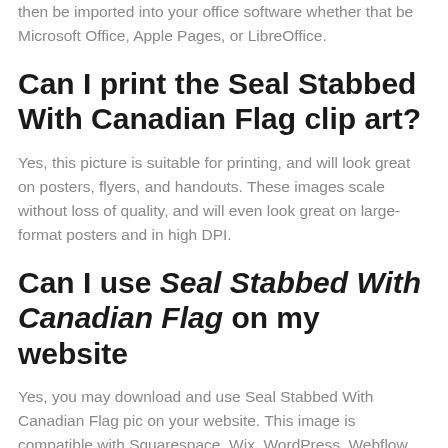then be imported into your office software whether that be Microsoft Office, Apple Pages, or LibreOffice.
Can I print the Seal Stabbed With Canadian Flag clip art?
Yes, this picture is suitable for printing, and will look great on posters, flyers, and handouts. These images scale without loss of quality, and will even look great on large-format posters and in high DPI.
Can I use Seal Stabbed With Canadian Flag on my website
Yes, you may download and use Seal Stabbed With Canadian Flag pic on your website. This image is compatible with Squarespace, Wix, WordPress, Webflow, and all the popular website publishing suites that allow for